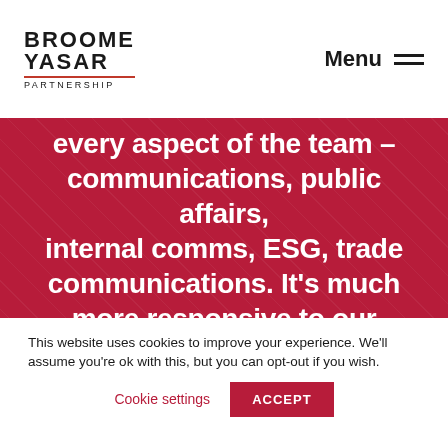BROOME YASAR PARTNERSHIP  Menu
every aspect of the team – communications, public affairs, internal comms, ESG, trade communications. It's much more responsive to our business priorities and our people and has clearly been more agile and efficient
This website uses cookies to improve your experience. We'll assume you're ok with this, but you can opt-out if you wish.
Cookie settings  ACCEPT